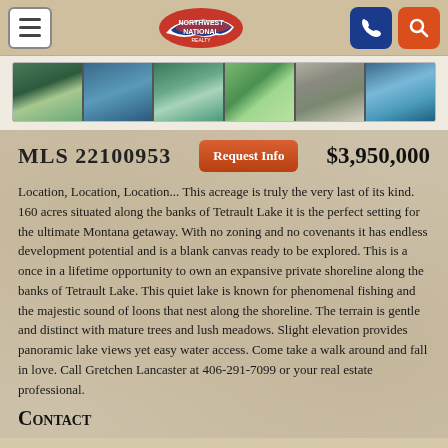[Figure (screenshot): Northwest National Realty website navigation bar with hamburger menu, logo, phone button, and search button]
[Figure (photo): Strip of 6 aerial/landscape thumbnail photos of Tetrault Lake property]
MLS 22100953   $3,950,000
Location, Location, Location... This acreage is truly the very last of its kind. 160 acres situated along the banks of Tetrault Lake it is the perfect setting for the ultimate Montana getaway. With no zoning and no covenants it has endless development potential and is a blank canvas ready to be explored. This is a once in a lifetime opportunity to own an expansive private shoreline along the banks of Tetrault Lake. This quiet lake is known for phenomenal fishing and the majestic sound of loons that nest along the shoreline. The terrain is gentle and distinct with mature trees and lush meadows. Slight elevation provides panoramic lake views yet easy water access. Come take a walk around and fall in love. Call Gretchen Lancaster at 406-291-7099 or your real estate professional.
Contact